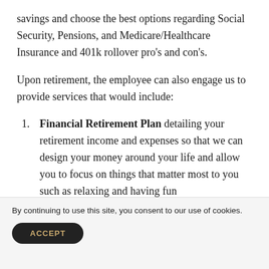savings and choose the best options regarding Social Security, Pensions, and Medicare/Healthcare Insurance and 401k rollover pro's and con's.
Upon retirement, the employee can also engage us to provide services that would include:
Financial Retirement Plan detailing your retirement income and expenses so that we can design your money around your life and allow you to focus on things that matter most to you such as relaxing and having fun
By continuing to use this site, you consent to our use of cookies.